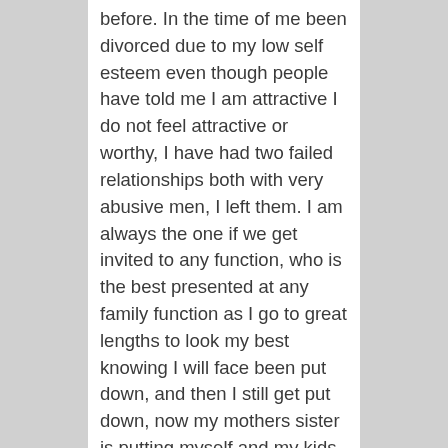before. In the time of me been divorced due to my low self esteem even though people have told me I am attractive I do not feel attractive or worthy, I have had two failed relationships both with very abusive men, I left them. I am always the one if we get invited to any function, who is the best presented at any family function as I go to great lengths to look my best knowing I will face been put down, and then I still get put down, now my mothers sister is putting myself and my kids down, I make sure my sons are neat and tidy, and yet I will still get constant remarks, if anything happens, its me who caused it, even if I was not around, I only get invited to